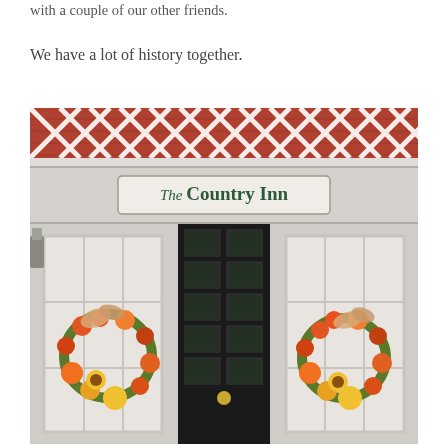with a couple of our other friends.
We have a lot of history together.
[Figure (photo): Exterior photo of The Country Inn storefront, showing white painted facade with lattice woodwork at top, a sign reading 'The Country Inn' in a bordered oval, a central black door with glass panels, two flanking white-framed windows, and autumn/fall wreaths with sunflowers and colorful foliage hanging on the side windows.]